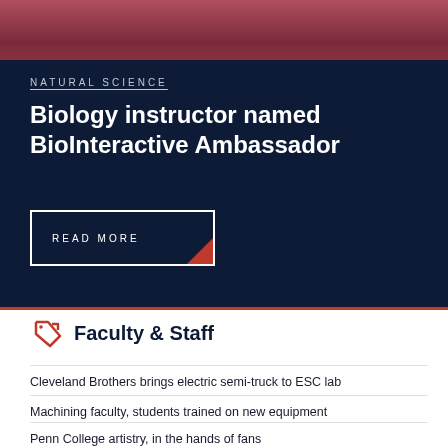[Figure (photo): Partial photo of a person wearing dark red/maroon clothing, cropped at the top of the page]
NATURAL SCIENCE
Biology instructor named BioInteractive Ambassador
READ MORE
Faculty & Staff
Cleveland Brothers brings electric semi-truck to ESC lab
Machining faculty, students trained on new equipment
Penn College artistry, in the hands of fans
Launch party playfully ushers audience to 'Prime'-time